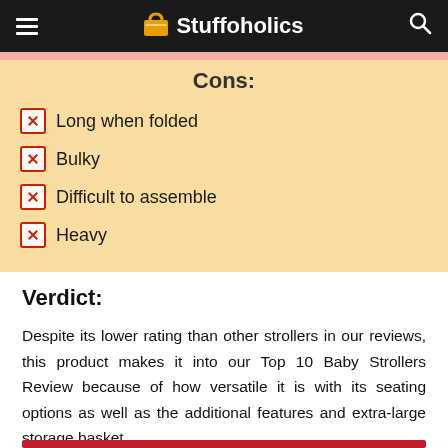Stuffoholics
Long when folded
Bulky
Difficult to assemble
Heavy
Verdict:
Despite its lower rating than other strollers in our reviews, this product makes it into our Top 10 Baby Strollers Review because of how versatile it is with its seating options as well as the additional features and extra-large storage basket.